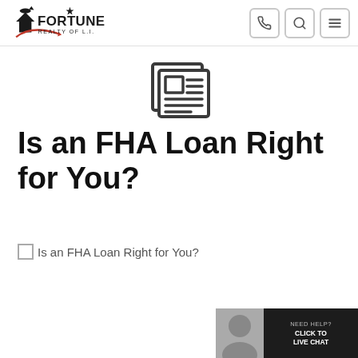Fortune Realty of L.I. — navigation header with logo and icons
[Figure (illustration): Newspaper icon in dark gray outline style]
Is an FHA Loan Right for You?
[Figure (photo): Broken image placeholder with alt text: Is an FHA Loan Right for You?]
[Figure (illustration): Live chat widget with agent photo, text NEED HELP? CLICK TO LIVE CHAT on dark background with red surround]